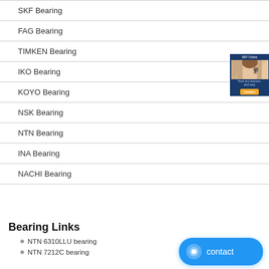SKF Bearing
FAG Bearing
TIMKEN Bearing
IKO Bearing
KOYO Bearing
NSK Bearing
NTN Bearing
INA Bearing
NACHI Bearing
[Figure (photo): Customer service representative advertisement with headset]
Bearing Links
NTN 6310LLU bearing
NTN 7212C bearing
[Figure (illustration): Blue contact button with chat icon]